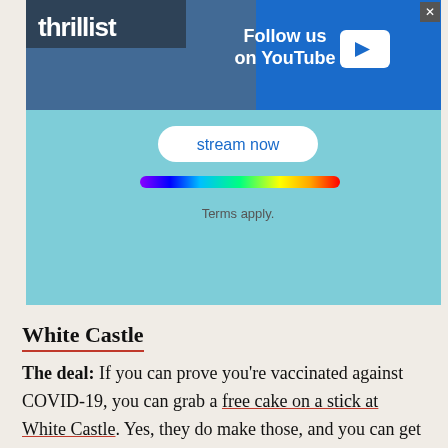[Figure (screenshot): Thrillist YouTube advertisement banner with 'Follow us on YouTube' text, rainbow color bar, stream now button, and Terms apply text on teal background]
White Castle
The deal: If you can prove you're vaccinated against COVID-19, you can grab a free cake on a stick at White Castle. Yes, they do make those, and you can get them in Gooey Buttercake, Fudge Dipped Brownie, Fudge Dipped Cheesecake, and Birthday Cake.
When: Through May 31